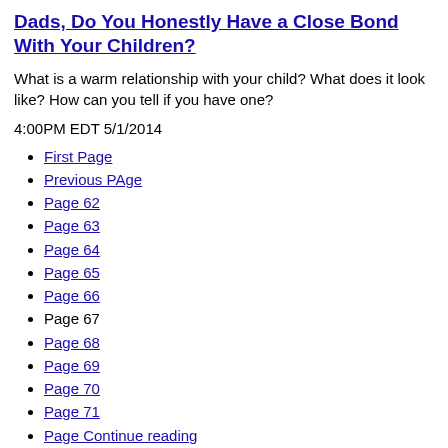Dads, Do You Honestly Have a Close Bond With Your Children?
What is a warm relationship with your child? What does it look like? How can you tell if you have one?
4:00PM EDT 5/1/2014
First Page
Previous PAge
Page 62
Page 63
Page 64
Page 65
Page 66
Page 67
Page 68
Page 69
Page 70
Page 71
Page Continue reading
Last Page
Page 67 of 100